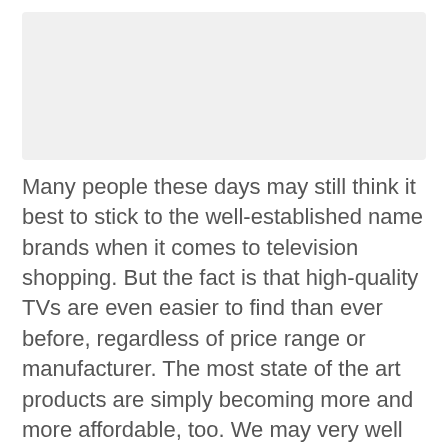[Figure (other): Light gray rectangular image placeholder at top of page]
Many people these days may still think it best to stick to the well-established name brands when it comes to television shopping. But the fact is that high-quality TVs are even easier to find than ever before, regardless of price range or manufacturer. The most state of the art products are simply becoming more and more affordable, too. We may very well be living in the golden age of television production. Sceptre may be one of the brands leading that